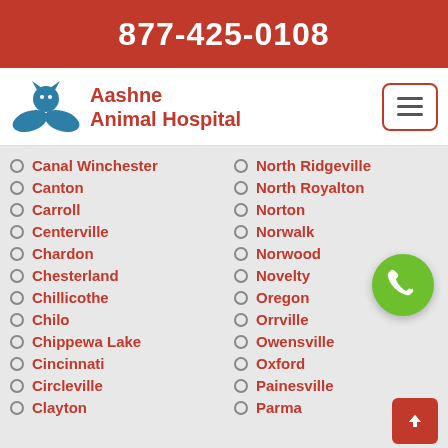877-425-0108
[Figure (logo): Aashne Animal Hospital logo with animal silhouette on hands and red text]
Canal Winchester
Canton
Carroll
Centerville
Chardon
Chesterland
Chillicothe
Chilo
Chippewa Lake
Cincinnati
Circleville
Clayton
North Ridgeville
North Royalton
Norton
Norwalk
Norwood
Novelty
Oregon
Orrville
Owensville
Oxford
Painesville
Parma